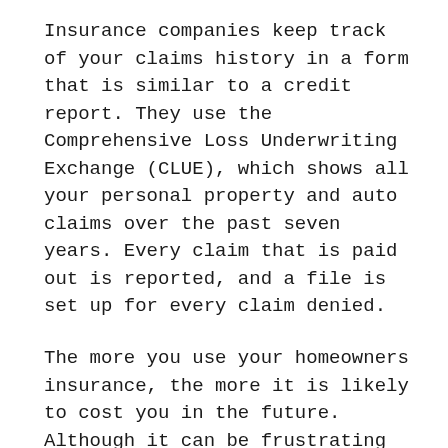Insurance companies keep track of your claims history in a form that is similar to a credit report. They use the Comprehensive Loss Underwriting Exchange (CLUE), which shows all your personal property and auto claims over the past seven years. Every claim that is paid out is reported, and a file is set up for every claim denied.
The more you use your homeowners insurance, the more it is likely to cost you in the future. Although it can be frustrating not to use the coverage you are paying for, it could cost you more in the long-run if you do. Contact our knowledgeable agency for guidance on when to file a homeowners insurance claim.